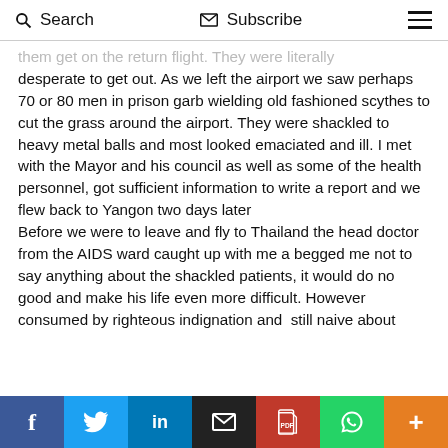Search  Subscribe  ≡
them get on the return flight. They were literally desperate to get out. As we left the airport we saw perhaps 70 or 80 men in prison garb wielding old fashioned scythes to cut the grass around the airport. They were shackled to heavy metal balls and most looked emaciated and ill. I met with the Mayor and his council as well as some of the health personnel, got sufficient information to write a report and we flew back to Yangon two days later
Before we were to leave and fly to Thailand the head doctor from the AIDS ward caught up with me a begged me not to say anything about the shackled patients, it would do no good and make his life even more difficult. However consumed by righteous indignation and  still naive about
f  tw  in  mail  pdf  whatsapp  +